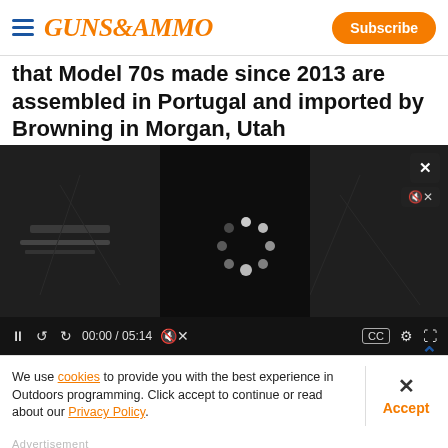GUNS&AMMO — Subscribe
that Model 70s made since 2013 are assembled in Portugal and imported by Browning in Morgan, Utah
[Figure (screenshot): Embedded video player with loading spinner, video controls showing 00:00 / 05:14 timestamp, and a dark background with blurred gun imagery.]
We use cookies to provide you with the best experience in Outdoors programming. Click accept to continue or read about our Privacy Policy.
Advertisement
[Figure (photo): Wheeler brand advertisement banner showing gun cleaning tools and equipment on a dark background with the Wheeler logo.]